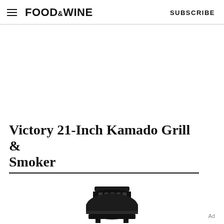FOOD&WINE   SUBSCRIBE
Victory 21-Inch Kamado Grill & Smoker
[Figure (photo): Top portion of a dark/black kamado grill smoker showing the vent cap]
Ad